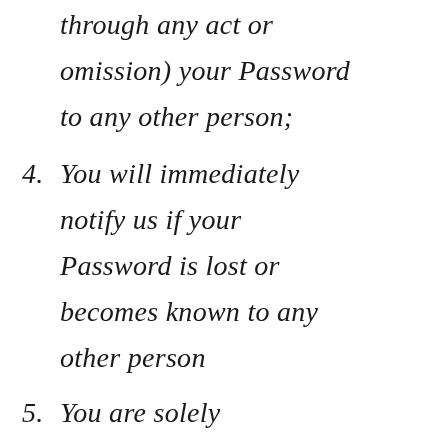through any act or omission) your Password to any other person;
4. You will immediately notify us if your Password is lost or becomes known to any other person
5. You are solely responsible for all access to and use of this site via your Password, whether such access or